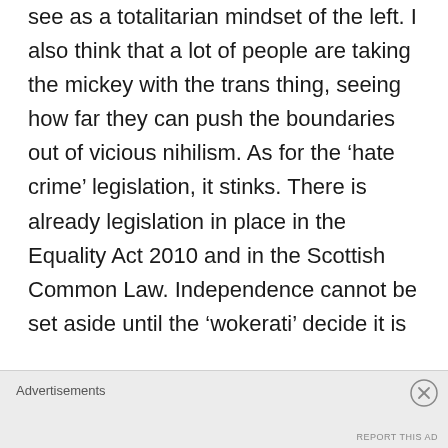see as a totalitarian mindset of the left. I also think that a lot of people are taking the mickey with the trans thing, seeing how far they can push the boundaries out of vicious nihilism. As for the 'hate crime' legislation, it stinks. There is already legislation in place in the Equality Act 2010 and in the Scottish Common Law. Independence cannot be set aside until the 'wokerati' decide it is
Advertisements